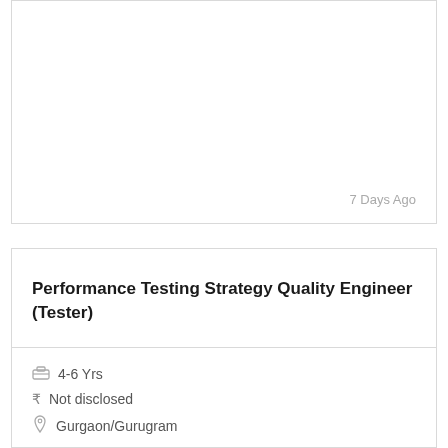7 Days Ago
Performance Testing Strategy Quality Engineer (Tester)
4-6 Yrs
Not disclosed
Gurgaon/Gurugram
Job Description:
Key Responsibilities : a: Performance Test Plan preparation b:....
7 Days Ago